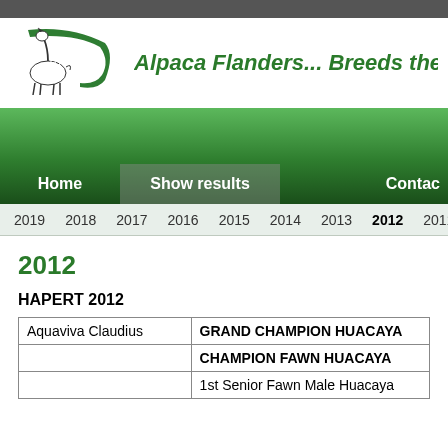[Figure (logo): Alpaca Flanders logo with alpaca silhouette and green swoosh]
Alpaca Flanders... Breeds the
Home | Show results | Contact
2019 2018 2017 2016 2015 2014 2013 2012 2011
2012
HAPERT 2012
| Aquaviva Claudius | GRAND CHAMPION HUACAYA |
|  | CHAMPION FAWN HUACAYA |
|  | 1st Senior Fawn Male Huacaya |